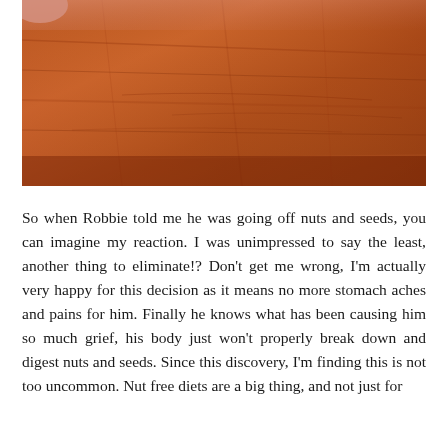[Figure (photo): A close-up photo of a warm brown wooden surface (table or countertop), with a partial view of a hand or finger visible at the top-left corner.]
So when Robbie told me he was going off nuts and seeds, you can imagine my reaction. I was unimpressed to say the least, another thing to eliminate!? Don't get me wrong, I'm actually very happy for this decision as it means no more stomach aches and pains for him. Finally he knows what has been causing him so much grief, his body just won't properly break down and digest nuts and seeds. Since this discovery, I'm finding this is not too uncommon. Nut free diets are a big thing, and not just for